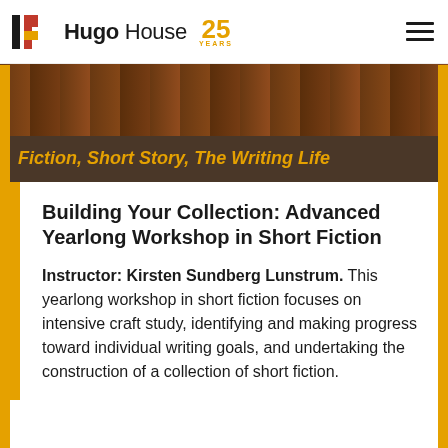Hugo House 25 YEARS
[Figure (photo): Dark brown wood texture / chalkboard hero image with handwritten markings]
Fiction, Short Story, The Writing Life
Building Your Collection: Advanced Yearlong Workshop in Short Fiction
Instructor: Kirsten Sundberg Lunstrum. This yearlong workshop in short fiction focuses on intensive craft study, identifying and making progress toward individual writing goals, and undertaking the construction of a collection of short fiction.